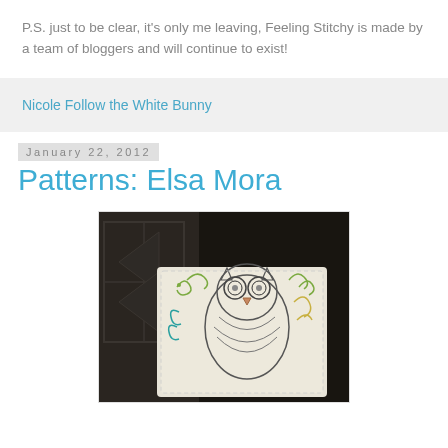P.S. just to be clear, it's only me leaving, Feeling Stitchy is made by a team of bloggers and will continue to exist!
Nicole Follow the White Bunny
January 22, 2012
Patterns: Elsa Mora
[Figure (photo): An embroidered pillow featuring an owl design with decorative stitching on a light background, photographed in a dark room setting.]